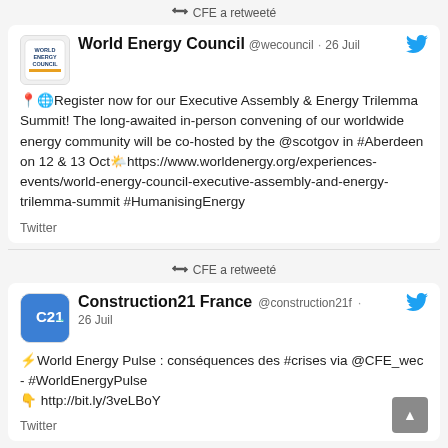CFE a retweeté
[Figure (screenshot): World Energy Council tweet: Register now for our Executive Assembly & Energy Trilemma Summit! The long-awaited in-person convening of our worldwide energy community will be co-hosted by the @scotgov in #Aberdeen on 12 & 13 Oct https://www.worldenergy.org/experiences-events/world-energy-council-executive-assembly-and-energy-trilemma-summit #HumanisingEnergy]
Twitter
CFE a retweeté
[Figure (screenshot): Construction21 France tweet: World Energy Pulse : conséquences des #crises via @CFE_wec - #WorldEnergyPulse http://bit.ly/3veLBoY]
Twitter